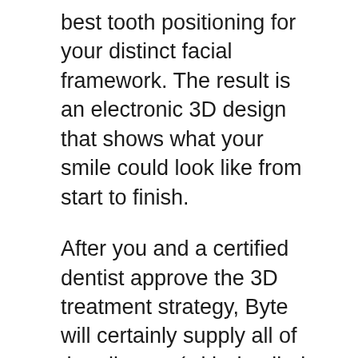best tooth positioning for your distinct facial framework. The result is an electronic 3D design that shows what your smile could look like from start to finish.
After you and a certified dentist approve the 3D treatment strategy, Byte will certainly supply all of the aligners (with detailed guidelines) straight to your door. These aligners will certainly relocate your teeth a little each time. After one collection of aligners is put on for a week or more, you'll move on to the next collection. This cycle proceeds until your new smile is achieved.
As a Byte client, you'll also get the HyperByte ®, an FDA-cleared dental motion acceleration tool. This gadget may assist